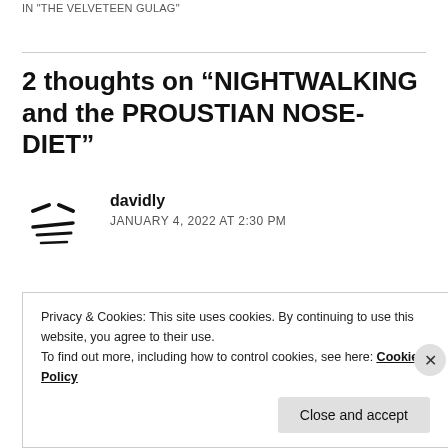IN "THE VELVETEEN GULAG"
2 thoughts on “NIGHTWALKING and the PROUSTIAN NOSE-DIET”
davidly
JANUARY 4, 2022 AT 2:30 PM
As a Nordire might say, I only noticed two/tree typos. Too much to relate to here to tabulate. Crimson, check.
Privacy & Cookies: This site uses cookies. By continuing to use this website, you agree to their use.
To find out more, including how to control cookies, see here: Cookie Policy
Close and accept